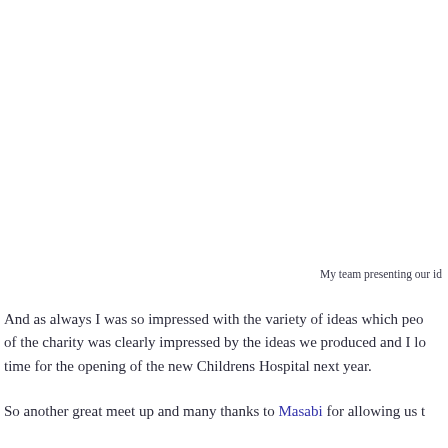My team presenting our id
And as always I was so impressed with the variety of ideas which peo of the charity was clearly impressed by the ideas we produced and I lo time for the opening of the new Childrens Hospital next year.
So another great meet up and many thanks to Masabi for allowing us t